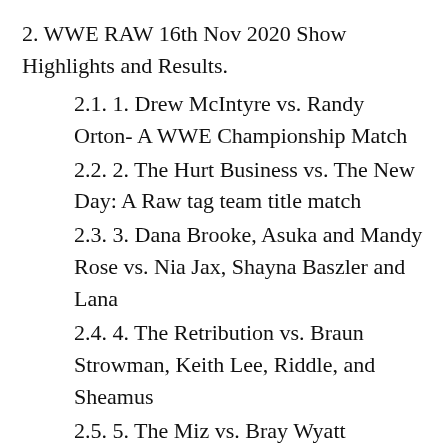2. WWE RAW 16th Nov 2020 Show Highlights and Results.
2.1. 1. Drew McIntyre vs. Randy Orton- A WWE Championship Match
2.2. 2. The Hurt Business vs. The New Day: A Raw tag team title match
2.3. 3. Dana Brooke, Asuka and Mandy Rose vs. Nia Jax, Shayna Baszler and Lana
2.4. 4. The Retribution vs. Braun Strowman, Keith Lee, Riddle, and Sheamus
2.5. 5. The Miz vs. Bray Wyatt
2.6. Top Three Predictions For RAW 23rd Nov 2020
2.7. Concluding Monday Night RAW